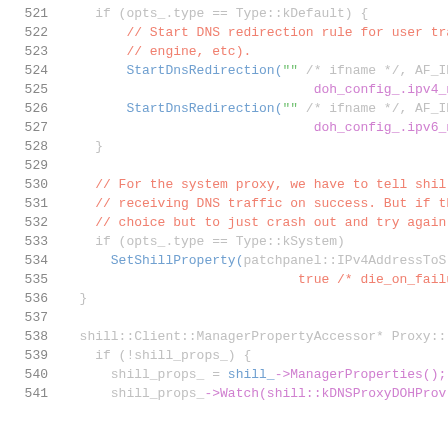[Figure (screenshot): Source code screenshot showing C++ code lines 521-541 with syntax highlighting. Line numbers in gray on left, comments in salmon/red, function calls in blue, strings in green, member access in purple, on white background.]